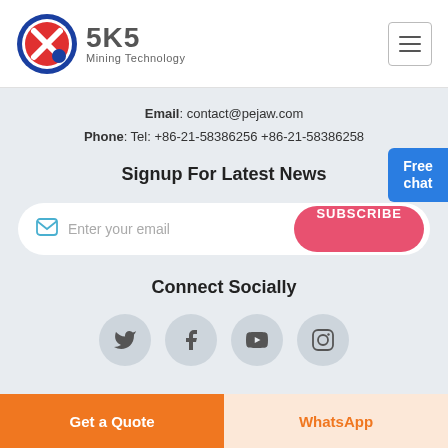[Figure (logo): SKS Mining Technology logo — circular red/white/blue emblem with X, text 'SKS' and 'Mining Technology']
[Figure (other): Hamburger menu icon (three horizontal lines) in a bordered square]
Email: contact@pejaw.com
Phone: Tel: +86-21-58386256 +86-21-58386258
[Figure (other): Free chat button — blue rounded rectangle with customer service figure and text 'Free chat']
Signup For Latest News
[Figure (other): Email subscription bar with envelope icon, 'Enter your email' placeholder, and pink SUBSCRIBE button]
Connect Socially
[Figure (other): Social media icons: Twitter, Facebook, YouTube, Instagram — grey circles]
Get a Quote
WhatsApp